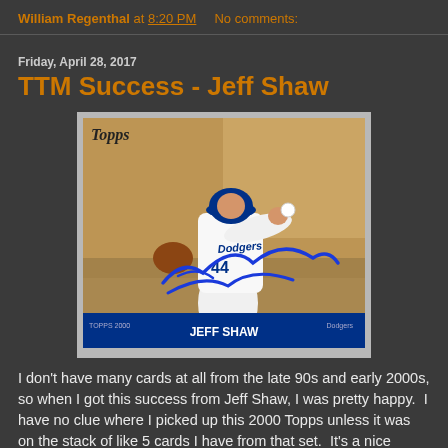William Regenthal at 8:20 PM   No comments:
Friday, April 28, 2017
TTM Success - Jeff Shaw
[Figure (photo): A signed 2000 Topps baseball card of Jeff Shaw in a Los Angeles Dodgers uniform, mid-pitch. The card has a blue autograph signature across the front. The card bottom reads 'JEFF SHAW' and 'TOPPS 2000'.]
I don't have many cards at all from the late 90s and early 2000s, so when I got this success from Jeff Shaw, I was pretty happy.  I have no clue where I picked up this 2000 Topps unless it was on the stack of like 5 cards I have from that set.  It's a nice looking set, so I need to add more of the my collection. It all starts with finding a card...